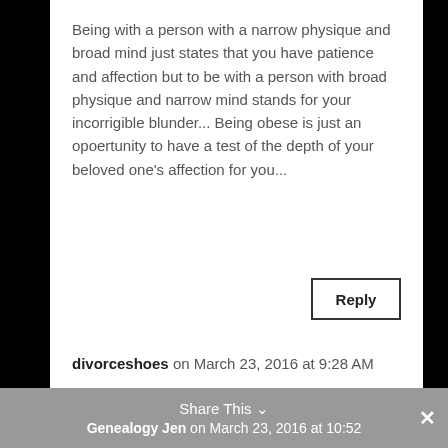Being with a person with a narrow physique and broad mind just states that you have patience and affection but to be with a person with broad physique and narrow mind stands for your incorrigible blunder... Being obese is just an opoertunity to have a test of the depth of your beloved one's affection for you...
Reply
divorceshoes on March 23, 2016 at 9:28 AM
Very beautifully written...
Reply
Share This  Genealogy Jen on March 23, 2016 at 10:52